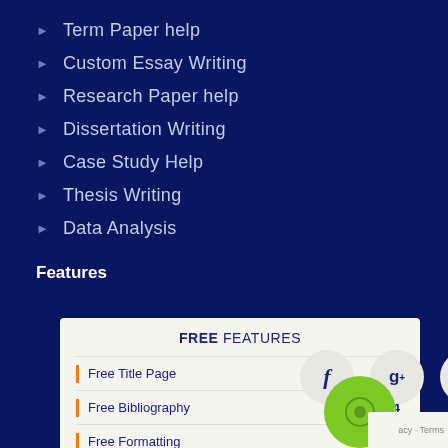Term Paper help
Custom Essay Writing
Research Paper help
Dissertation Writing
Case Study Help
Thesis Writing
Data Analysis
Features
|  | Feature | Price |
| --- | --- | --- |
| | | Free Title Page | $7 |
| | | Free Bibliography | $14 |
| | | Free Formatting | $11 |
| | | Free Plagiarism Check | $10 |
[Figure (illustration): Social media icons: Facebook (f), Google+ (g+), Pinterest (p) as circular buttons]